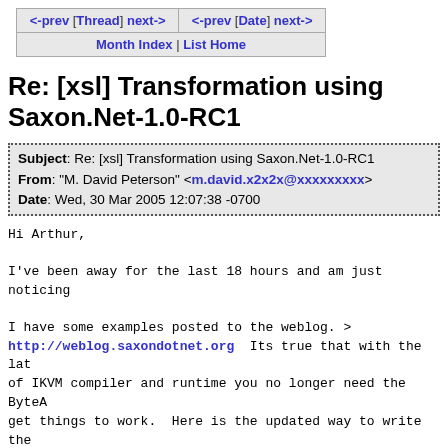| <-prev [Thread] next-> | <-prev [Date] next-> |
| Month Index | List Home |  |
Re: [xsl] Transformation using Saxon.Net-1.0-RC1
| Subject: Re: [xsl] Transformation using Saxon.Net-1.0-RC1 |
| From: "M. David Peterson" <m.david.x2x2x@xxxxxxxxx> |
| Date: Wed, 30 Mar 2005 12:07:38 -0700 |
Hi Arthur,
I've been away for the last 18 hours and am just noticing
I have some examples posted to the weblog. > http://weblog.saxondotnet.org  Its true that with the lat of IKVM compiler and runtime you no longer need the ByteA get things to work.  Here is the updated way to write the class in C# (the same one listed on the weblog):
using System;
using System.IO;
using System.Xml;